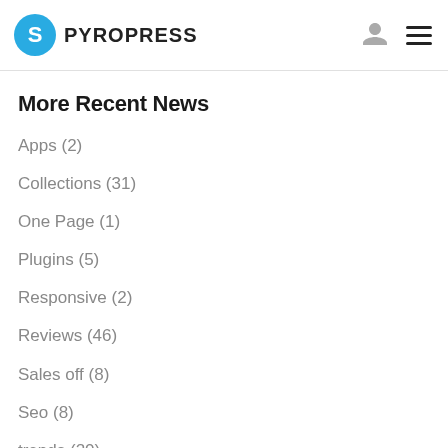PYROPRESS
More Recent News
Apps (2)
Collections (31)
One Page (1)
Plugins (5)
Responsive (2)
Reviews (46)
Sales off (8)
Seo (8)
trends (20)